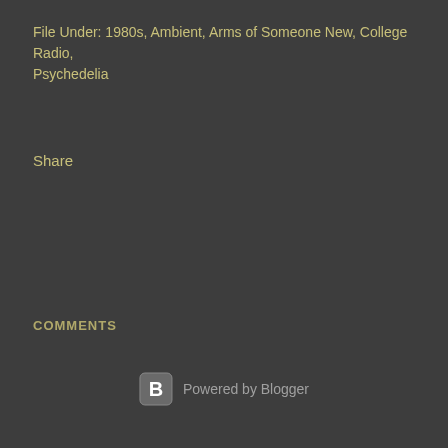File Under: 1980s, Ambient, Arms of Someone New, College Radio, Psychedelia
Share
COMMENTS
[Figure (illustration): User avatar silhouette icon — circular grey avatar with person silhouette]
Enter comment
Powered by Blogger